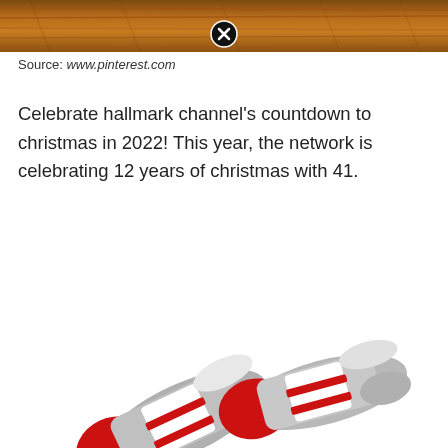[Figure (photo): Wooden texture / wood grain background image banner at the top of the page with a dark brown/orange tone]
Source: www.pinterest.com
Celebrate hallmark channel's countdown to christmas in 2022! This year, the network is celebrating 12 years of christmas with 41.
[Figure (photo): Photo of two gray, white and red striped ankle socks arranged overlapping each other on a white background]